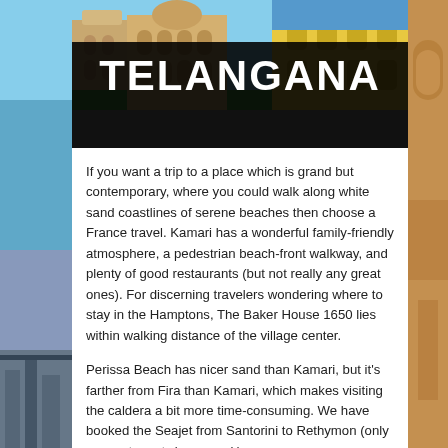[Figure (photo): Header image showing Telangana architecture (mosque/palace buildings with arches and ornate facades), with a black banner overlay displaying the word TELANGANA in bold white text]
If you want a trip to a place which is grand but contemporary, where you could walk along white sand coastlines of serene beaches then choose a France travel. Kamari has a wonderful family-friendly atmosphere, a pedestrian beach-front walkway, and plenty of good restaurants (but not really any great ones). For discerning travelers wondering where to stay in the Hamptons, The Baker House 1650 lies within walking distance of the village center.
Perissa Beach has nicer sand than Kamari, but it's farther from Fira than Kamari, which makes visiting the caldera a bit more time-consuming. We have booked the Seajet from Santorini to Rethymon (only seems to go twice a week)